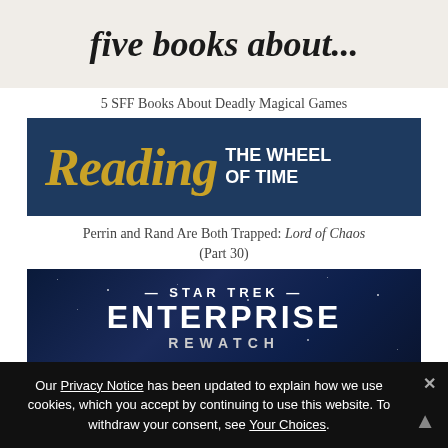[Figure (illustration): Banner with text 'five books about...' on a light beige background in bold italic serif font]
5 SFF Books About Deadly Magical Games
[Figure (illustration): Dark navy banner reading 'Reading THE WHEEL OF TIME' with 'Reading' in gold italic and subtitle in white bold caps]
Perrin and Rand Are Both Trapped: Lord of Chaos (Part 30)
[Figure (illustration): Dark space-themed banner reading '— STAR TREK — ENTERPRISE REWATCH' in white bold uppercase letters on a star field background]
Our Privacy Notice has been updated to explain how we use cookies, which you accept by continuing to use this website. To withdraw your consent, see Your Choices.